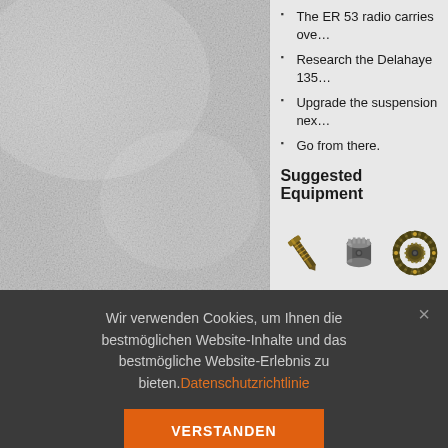The ER 53 radio carries ove…
Research the Delahaye 135…
Upgrade the suspension nex…
Go from there.
Suggested Equipment
[Figure (photo): Three game equipment icons: a golden bolt/screw, a metallic gear/module, and a circular chain/track device]
Wir verwenden Cookies, um Ihnen die bestmöglichen Website-Inhalte und das bestmögliche Website-Erlebnis zu bieten.Datenschutzrichtlinie
VERSTANDEN